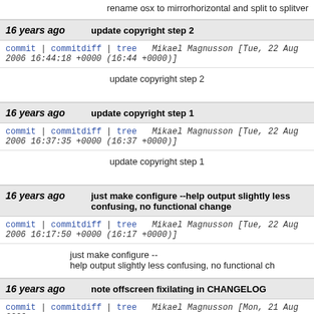rename osx to mirrorhorizontal and split to splitver
16 years ago   update copyright step 2
commit | commitdiff | tree   Mikael Magnusson [Tue, 22 Aug 2006 16:44:18 +0000 (16:44 +0000)]
update copyright step 2
16 years ago   update copyright step 1
commit | commitdiff | tree   Mikael Magnusson [Tue, 22 Aug 2006 16:37:35 +0000 (16:37 +0000)]
update copyright step 1
16 years ago   just make configure --help output slightly less confusing, no functional change
commit | commitdiff | tree   Mikael Magnusson [Tue, 22 Aug 2006 16:17:50 +0000 (16:17 +0000)]
just make configure --
help output slightly less confusing, no functional ch
16 years ago   note offscreen fixilating in CHANGELOG
commit | commitdiff | tree   Mikael Magnusson [Mon, 21 Aug 2006